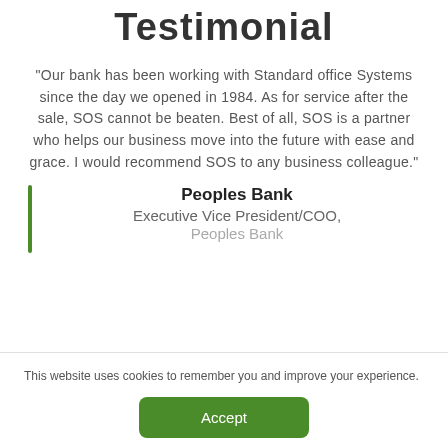Testimonial
“Our bank has been working with Standard office Systems since the day we opened in 1984. As for service after the sale, SOS cannot be beaten. Best of all, SOS is a partner who helps our business move into the future with ease and grace. I would recommend SOS to any business colleague.”
Peoples Bank
Executive Vice President/COO,
Peoples Bank
This website uses cookies to remember you and improve your experience.